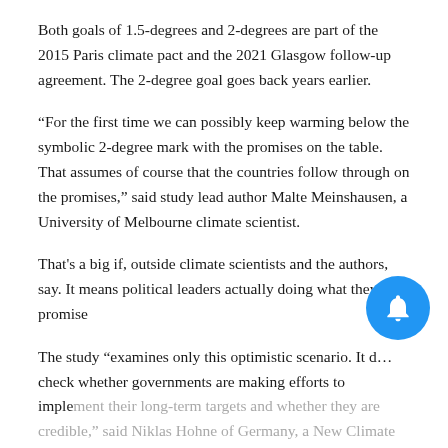Both goals of 1.5-degrees and 2-degrees are part of the 2015 Paris climate pact and the 2021 Glasgow follow-up agreement. The 2-degree goal goes back years earlier.
“For the first time we can possibly keep warming below the symbolic 2-degree mark with the promises on the table. That assumes of course that the countries follow through on the promises,” said study lead author Malte Meinshausen, a University of Melbourne climate scientist.
That’s a big if, outside climate scientists and the authors, say. It means political leaders actually doing what they promise
The study “examines only this optimistic scenario. It d… check whether governments are making efforts to implement their long-term targets and whether they are credible,” said Niklas Hohne of Germany, a New Climate Institute scientist